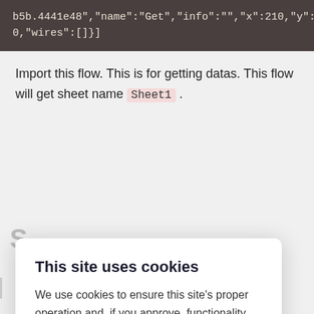b5b.4441e48","name":"Get","info":"","x":210,"y":80,"wires":[]}]
Import this flow. This is for getting datas. This flow will get sheet name Sheet1.
This site uses cookies
We use cookies to ensure this site's proper operation and, if you approve, functionality cookies for certain interactive features of this site. If you wish to opt-out from the use of cookies please see our Cookies Policy.
Accept
Settings...